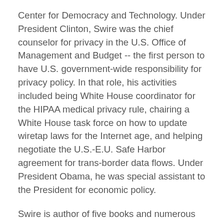Center for Democracy and Technology. Under President Clinton, Swire was the chief counselor for privacy in the U.S. Office of Management and Budget -- the first person to have U.S. government-wide responsibility for privacy policy. In that role, his activities included being White House coordinator for the HIPAA medical privacy rule, chairing a White House task force on how to update wiretap laws for the Internet age, and helping negotiate the U.S.-E.U. Safe Harbor agreement for trans-border data flows. Under President Obama, he was special assistant to the President for economic policy.
Swire is author of five books and numerous scholarly papers. He has testified often before the Congress, and been quoted regularly in the press. He has served on privacy and security advisory boards for companies including Google, IBM, Intel, and Microsoft, as well as